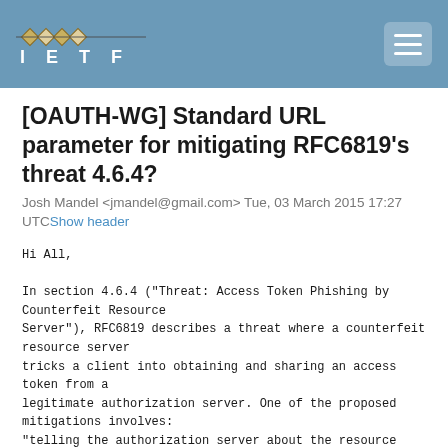IETF
[OAUTH-WG] Standard URL parameter for mitigating RFC6819's threat 4.6.4?
Josh Mandel <jmandel@gmail.com> Tue, 03 March 2015 17:27 UTCShow header
Hi All,

In section 4.6.4 ("Threat: Access Token Phishing by Counterfeit Resource
Server"), RFC6819 describes a threat where a counterfeit resource server
tricks a client into obtaining and sharing an access token from a
legitimate authorization server. One of the proposed mitigations involves:
"telling the authorization server about the resource server endpoint URL in
the authorization process."

In other words, this mitigation would ask the client to pass an additional